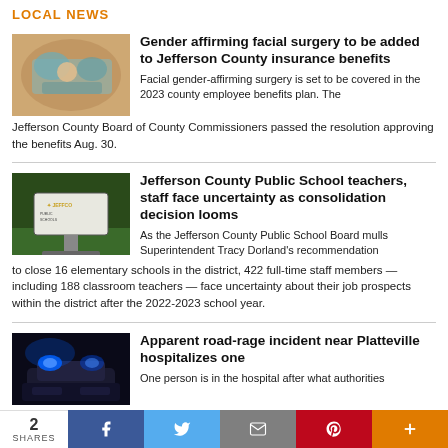LOCAL NEWS
Gender affirming facial surgery to be added to Jefferson County insurance benefits
Facial gender-affirming surgery is set to be covered in the 2023 county employee benefits plan. The Jefferson County Board of County Commissioners passed the resolution approving the benefits Aug. 30.
Jefferson County Public School teachers, staff face uncertainty as consolidation decision looms
As the Jefferson County Public School Board mulls Superintendent Tracy Dorland’s recommendation to close 16 elementary schools in the district, 422 full-time staff members — including 188 classroom teachers — face uncertainty about their job prospects within the district after the 2022-2023 school year.
Apparent road-rage incident near Platteville hospitalizes one
One person is in the hospital after what authorities